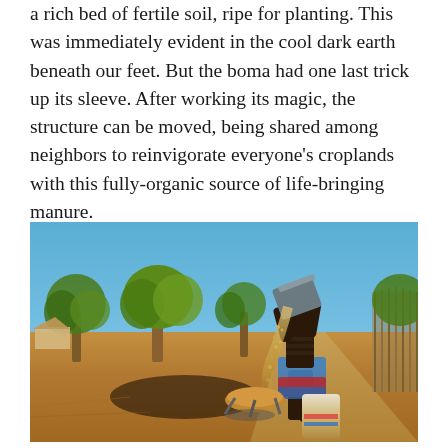a rich bed of fertile soil, ripe for planting. This was immediately evident in the cool dark earth beneath our feet. But the boma had one last trick up its sleeve. After working its magic, the structure can be moved, being shared among neighbors to reinvigorate everyone's croplands with this fully-organic source of life-bringing manure.
[Figure (photo): A person pouring grain from a large container into a bowl on the ground, outdoors in an African village setting with trees, dry earth, a dirt path, and a fence in the background under a blue sky.]